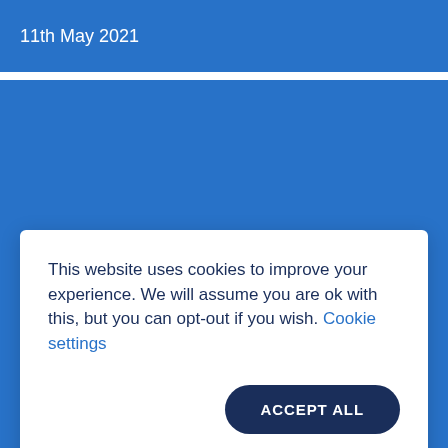11th May 2021
[Figure (other): Blue banner/image block]
This website uses cookies to improve your experience. We will assume you are ok with this, but you can opt-out if you wish. Cookie settings
ACCEPT ALL
WTO